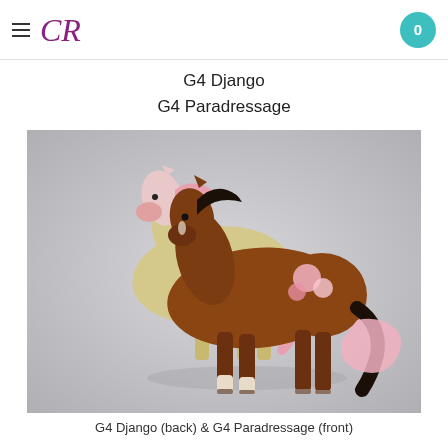CR — navigation header with hamburger menu and cart badge (0)
G4 Django
G4 Paradressage
[Figure (photo): Two model horses side by side on a grey background. The back horse (G4 Django) is a light yellow/cream colour with pink mane, tail, and markings. The front horse (G4 Paradressage) is a brown bay with a dark mane and tail, with pink floral accents on its back.]
G4 Django (back) & G4 Paradressage (front)